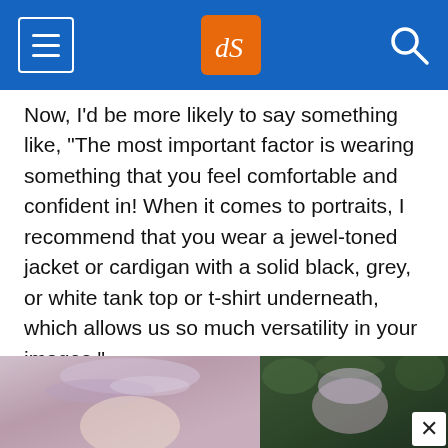dPS navigation header
Now, I'd be more likely to say something like, “The most important factor is wearing something that you feel comfortable and confident in! When it comes to portraits, I recommend that you wear a jewel-toned jacket or cardigan with a solid black, grey, or white tank top or t-shirt underneath, which allows us so much versatility in your images.”
[Figure (photo): Two side-by-side portrait photos of a woman with light purple/lavender hair, showing head and upper body, taken outdoors with dark green foliage background.]